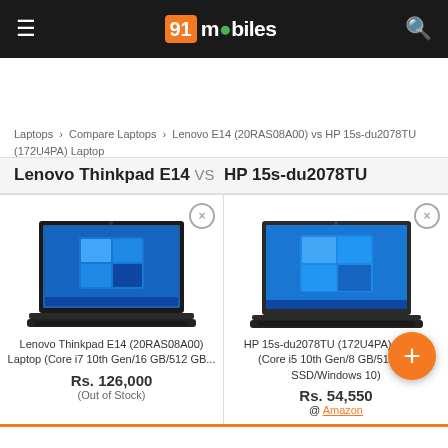91mobiles
Laptops › Compare Laptops › Lenovo E14 (20RAS08A00) vs HP 15s-du2078TU (172U4PA) Laptop
Lenovo Thinkpad E14 VS HP 15s-du2078TU
[Figure (screenshot): Lenovo Thinkpad E14 (20RAS08A00) laptop product image showing a dark laptop with Windows 10 screen]
Lenovo Thinkpad E14 (20RAS08A00) Laptop (Core i7 10th Gen/16 GB/512 GB...
Rs. 126,000
(Out of Stock)
[Figure (screenshot): HP 15s-du2078TU (172U4PA) laptop product image showing a laptop with Windows 10 screen]
HP 15s-du2078TU (172U4PA) Laptop (Core i5 10th Gen/8 GB/512 GB SSD/Windows 10)
Rs. 54,550
@ Amazon